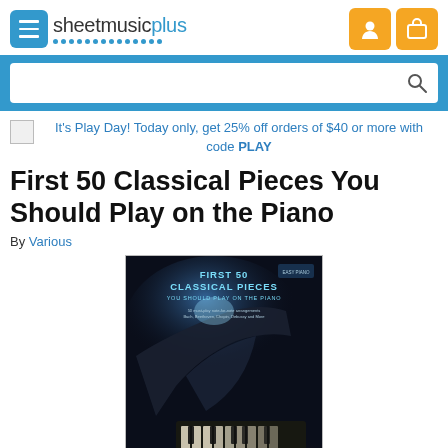sheetmusicplus
It's Play Day! Today only, get 25% off orders of $40 or more with code PLAY
First 50 Classical Pieces You Should Play on the Piano
By Various
[Figure (illustration): Book cover for 'First 50 Classical Pieces You Should Play on the Piano' showing a piano with blue/dark atmospheric background]